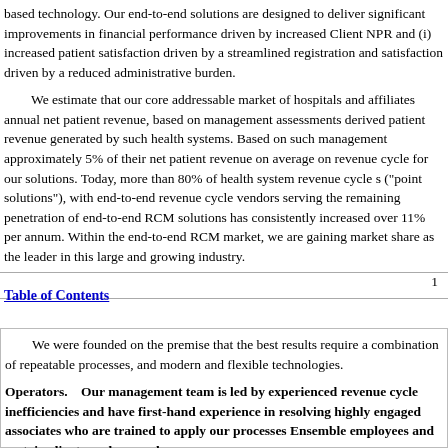based technology. Our end-to-end solutions are designed to deliver significant improvements in financial performance driven by increased Client NPR and (ii) increased patient satisfaction driven by a streamlined registration and satisfaction driven by a reduced administrative burden.
We estimate that our core addressable market of hospitals and affiliates annual net patient revenue, based on management assessments derived patient revenue generated by such health systems. Based on such management approximately 5% of their net patient revenue on average on revenue cycle for our solutions. Today, more than 80% of health system revenue cycle ("point solutions"), with end-to-end revenue cycle vendors serving the remaining penetration of end-to-end RCM solutions has consistently increased over 11% per annum. Within the end-to-end RCM market, we are gaining market share as the leader in this large and growing industry.
1
Table of Contents
We were founded on the premise that the best results require a combination of repeatable processes, and modern and flexible technologies.
Operators. Our management team is led by experienced revenue cycle inefficiencies and have first-hand experience in resolving highly engaged associates who are trained to apply our processes Ensemble employees and certain client employees whom we